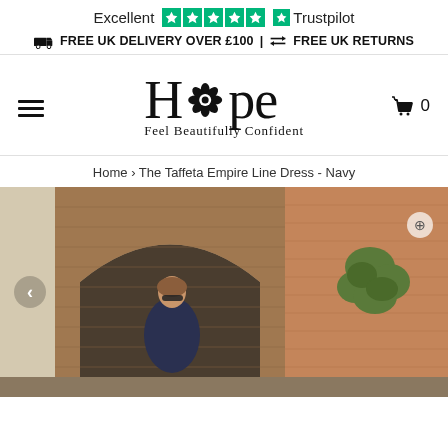[Figure (logo): Trustpilot rating bar showing 'Excellent' with 5 green stars and Trustpilot logo]
🚚 FREE UK DELIVERY OVER £100 | ⇄ FREE UK RETURNS
[Figure (logo): Hope fashion brand logo with flower replacing the 'o', tagline: Feel Beautifully Confident]
Home › The Taffeta Empire Line Dress - Navy
[Figure (photo): Woman wearing a navy empire line dress standing under a brick archway outdoors]